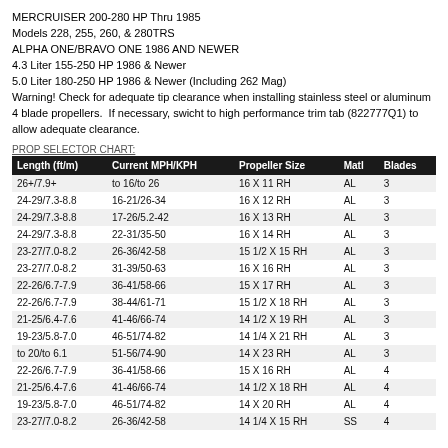MERCRUISER 200-280 HP Thru 1985
Models 228, 255, 260, & 280TRS
ALPHA ONE/BRAVO ONE 1986 AND NEWER
4.3 Liter 155-250 HP 1986 & Newer
5.0 Liter 180-250 HP 1986 & Newer (Including 262 Mag)
Warning! Check for adequate tip clearance when installing stainless steel or aluminum 4 blade propellers. If necessary, swicht to high performance trim tab (822777Q1) to allow adequate clearance.
| Length (ft/m) | Current MPH/KPH | Propeller Size | Matl | Blades |
| --- | --- | --- | --- | --- |
| 26+/7.9+ | to 16/to 26 | 16 X 11 RH | AL | 3 |
| 24-29/7.3-8.8 | 16-21/26-34 | 16 X 12 RH | AL | 3 |
| 24-29/7.3-8.8 | 17-26/5.2-42 | 16 X 13 RH | AL | 3 |
| 24-29/7.3-8.8 | 22-31/35-50 | 16 X 14 RH | AL | 3 |
| 23-27/7.0-8.2 | 26-36/42-58 | 15 1/2 X 15 RH | AL | 3 |
| 23-27/7.0-8.2 | 31-39/50-63 | 16 X 16 RH | AL | 3 |
| 22-26/6.7-7.9 | 36-41/58-66 | 15 X 17 RH | AL | 3 |
| 22-26/6.7-7.9 | 38-44/61-71 | 15 1/2 X 18 RH | AL | 3 |
| 21-25/6.4-7.6 | 41-46/66-74 | 14 1/2 X 19 RH | AL | 3 |
| 19-23/5.8-7.0 | 46-51/74-82 | 14 1/4 X 21 RH | AL | 3 |
| to 20/to 6.1 | 51-56/74-90 | 14 X 23 RH | AL | 3 |
| 22-26/6.7-7.9 | 36-41/58-66 | 15 X 16 RH | AL | 4 |
| 21-25/6.4-7.6 | 41-46/66-74 | 14 1/2 X 18 RH | AL | 4 |
| 19-23/5.8-7.0 | 46-51/74-82 | 14 X 20 RH | AL | 4 |
| 23-27/7.0-8.2 | 26-36/42-58 | 14 1/4 X 15 RH | SS | 4 |